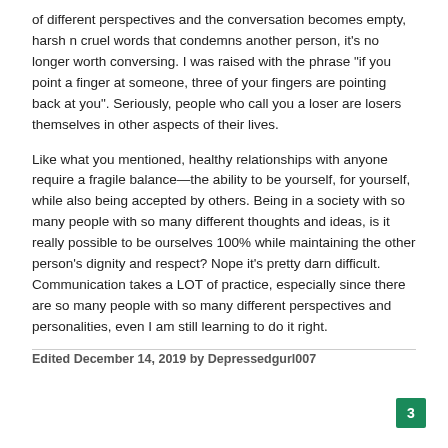of different perspectives and the conversation becomes empty, harsh n cruel words that condemns another person, it's no longer worth conversing. I was raised with the phrase "if you point a finger at someone, three of your fingers are pointing back at you". Seriously, people who call you a loser are losers themselves in other aspects of their lives.
Like what you mentioned, healthy relationships with anyone require a fragile balance—the ability to be yourself, for yourself, while also being accepted by others. Being in a society with so many people with so many different thoughts and ideas, is it really possible to be ourselves 100% while maintaining the other person's dignity and respect? Nope it's pretty darn difficult. Communication takes a LOT of practice, especially since there are so many people with so many different perspectives and personalities, even I am still learning to do it right.
Edited December 14, 2019 by Depressedgurl007
3